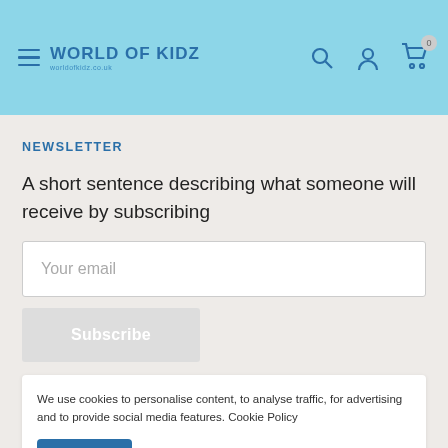WORLD OF KIDZ — navigation header with hamburger menu, search, account, and cart icons
NEWSLETTER
A short sentence describing what someone will receive by subscribing
Your email
Subscribe
We use cookies to personalise content, to analyse traffic, for advertising and to provide social media features. Cookie Policy
Accept